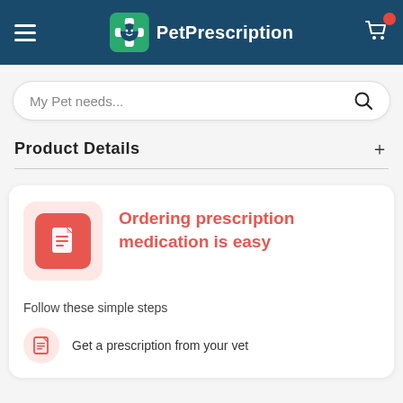PetPrescription
My Pet needs...
Product Details
Ordering prescription medication is easy
Follow these simple steps
Get a prescription from your vet